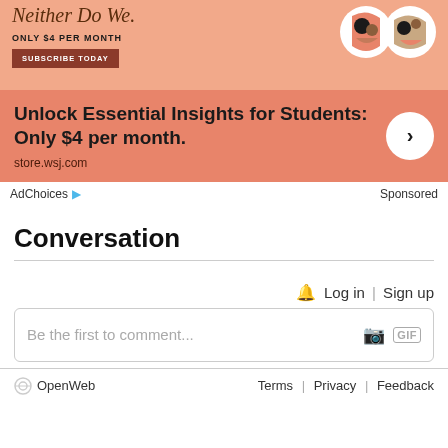[Figure (advertisement): WSJ advertisement showing 'Neither Do We.' headline cropped at top, 'ONLY $4 PER MONTH' text, 'SUBSCRIBE TODAY' button, two circular abstract face illustrations on salmon/peach background, with bottom section reading 'Unlock Essential Insights for Students: Only $4 per month.' and URL 'store.wsj.com' with a right-arrow circle button.]
AdChoices  Sponsored
Conversation
Log in | Sign up
Be the first to comment...
OpenWeb   Terms | Privacy | Feedback